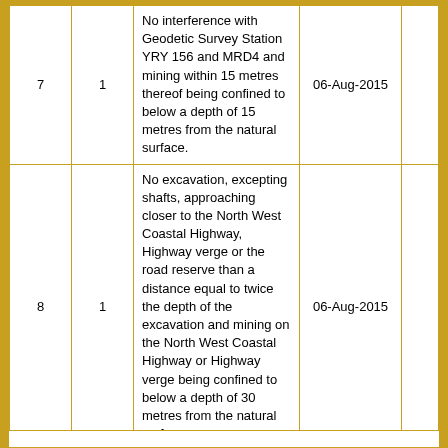|  |  | Description | Date |  |
| --- | --- | --- | --- | --- |
| 7 | 1 | No interference with Geodetic Survey Station YRY 156 and MRD4 and mining within 15 metres thereof being confined to below a depth of 15 metres from the natural surface. | 06-Aug-2015 |  |
| 8 | 1 | No excavation, excepting shafts, approaching closer to the North West Coastal Highway, Highway verge or the road reserve than a distance equal to twice the depth of the excavation and mining on the North West Coastal Highway or Highway verge being confined to below a depth of 30 metres from the natural surface. | 06-Aug-2015 |  |
| 9 | 1 | The prior written consent of the Minister responsible for the Mining Act 1978 being obtained before commencing any exploration activities on CR 44118 Regenerator Site. | 06-Aug-2015 |  |
Endorsements